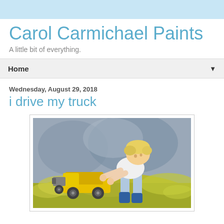Carol Carmichael Paints
A little bit of everything.
Home
Wednesday, August 29, 2018
i drive my truck
[Figure (illustration): Painting of a young blonde boy in a white shirt and blue rubber boots, leaning over and pushing a yellow toy dump truck through green and yellow grass with a grey/blue background.]